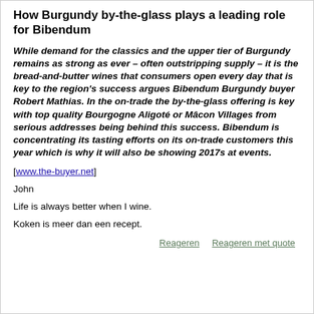How Burgundy by-the-glass plays a leading role for Bibendum
While demand for the classics and the upper tier of Burgundy remains as strong as ever – often outstripping supply – it is the bread-and-butter wines that consumers open every day that is key to the region's success argues Bibendum Burgundy buyer Robert Mathias. In the on-trade the by-the-glass offering is key with top quality Bourgogne Aligoté or Mâcon Villages from serious addresses being behind this success. Bibendum is concentrating its tasting efforts on its on-trade customers this year which is why it will also be showing 2017s at events.
[www.the-buyer.net]
John
Life is always better when I wine.
Koken is meer dan een recept.
Reageren   Reageren met quote